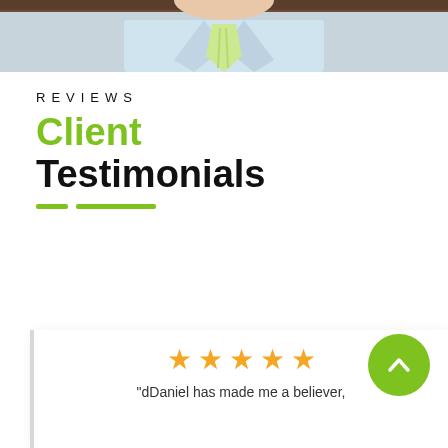[Figure (photo): Partial photo of a man in a light blue shirt and green/yellow striped tie, with dark wood paneling in background. Only the torso/lower neck area is visible at the top of the page.]
REVIEWS
Client Testimonials
[Figure (illustration): Two green horizontal dashes/lines decorative element below the title]
[Figure (other): Testimonial card with 4 gold stars and partial quote text: 'dDaniel has made me a believer,']
[Figure (other): Green circular button with upward chevron arrow in the bottom right area]